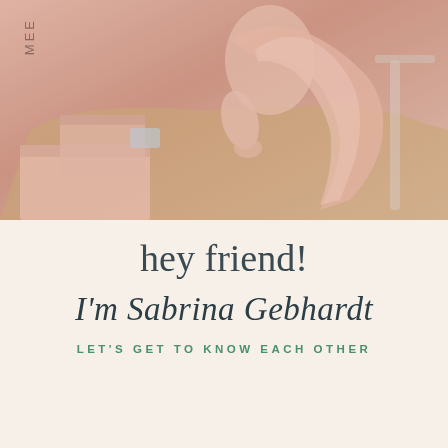[Figure (photo): Photograph of a woman in a pink flowing outfit/scarf, sitting near a table with pink boxes, with a warm rose-toned color overlay. Text 'MEE' vertically on left side.]
hey friend!
I'm Sabrina Gebhardt
LET'S GET TO KNOW EACH OTHER